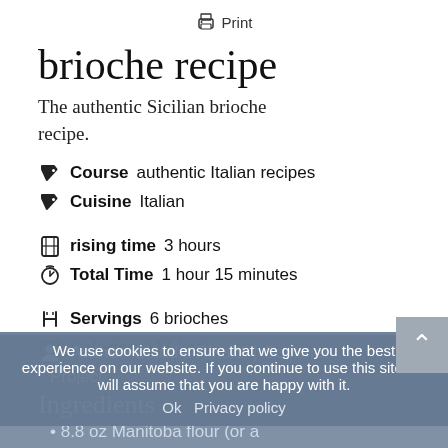🖨 Print
brioche recipe
The authentic Sicilian brioche recipe.
Course authentic Italian recipes
Cuisine Italian
rising time 3 hours
Total Time 1 hour 15 minutes
Servings 6 brioches
Calories 111 kcal
Author Claudia Rinaldi | Gourmet Project
Ingredients
8.8 oz Manitoba flour (or a
We use cookies to ensure that we give you the best experience on our website. If you continue to use this site we will assume that you are happy with it.
Ok   Privacy policy